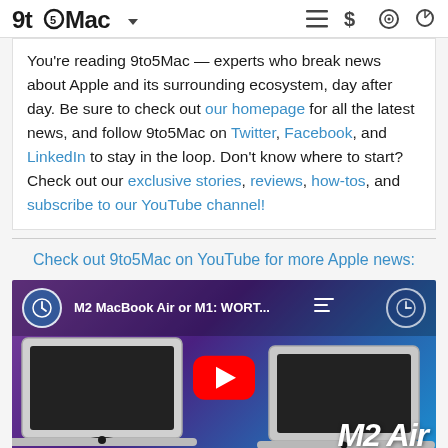9to5Mac
You're reading 9to5Mac — experts who break news about Apple and its surrounding ecosystem, day after day. Be sure to check out our homepage for all the latest news, and follow 9to5Mac on Twitter, Facebook, and LinkedIn to stay in the loop. Don't know where to start? Check out our exclusive stories, reviews, how-tos, and subscribe to our YouTube channel!
Check out 9to5Mac on YouTube for more Apple news:
[Figure (screenshot): YouTube video thumbnail for 'M2 MacBook Air or M1: WORT...' showing two MacBook Air laptops (M1 Air and M2 Air) with a red YouTube play button in the center, on a purple/blue gradient background.]